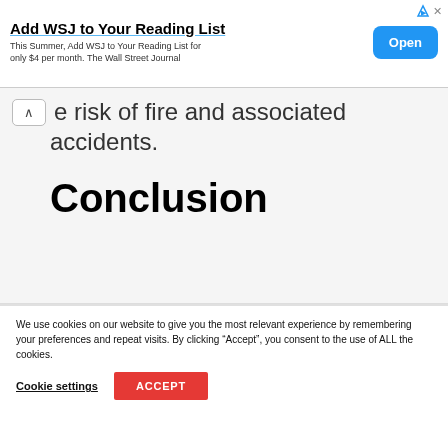[Figure (screenshot): WSJ advertisement banner with title 'Add WSJ to Your Reading List', subtitle text, and an Open button]
e risk of fire and associated accidents.
Conclusion
We use cookies on our website to give you the most relevant experience by remembering your preferences and repeat visits. By clicking “Accept”, you consent to the use of ALL the cookies.
Cookie settings  ACCEPT